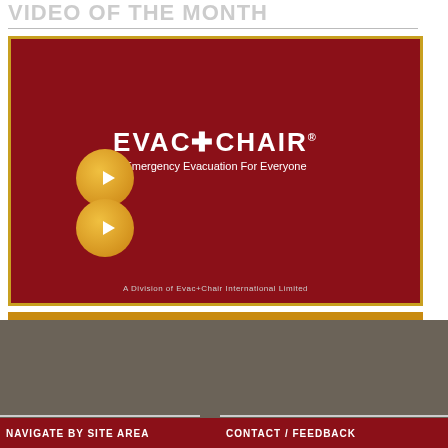VIDEO OF THE MONTH
[Figure (screenshot): Video thumbnail showing Evac+Chair logo on dark red background with two golden play buttons and tagline 'Emergency Evacuation For Everyone'. Text at bottom: 'A Division of Evac+Chair International Limited']
NAVIGATE BY SITE AREA
CONTACT / FEEDBACK